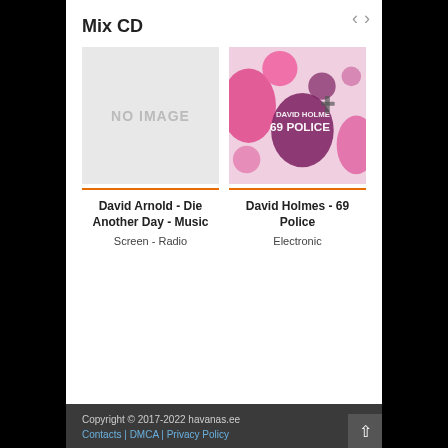Mix CD
[Figure (other): No image placeholder box with text 'NO IMAGE']
David Arnold - Die Another Day - Music
Screen - Radio
[Figure (illustration): Album cover for David Holmes - 69 Police, pink and purple illustrated artwork with figures]
David Holmes - 69 Police
Electronic
Copyright © 2017-2022 havanas.ee  Contacts | DMCA | Privacy Policy